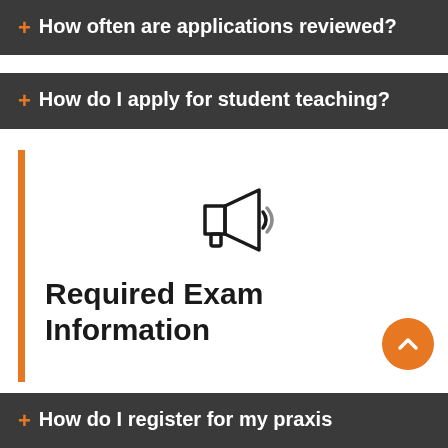+ How often are applications reviewed?
+ How do I apply for student teaching?
[Figure (illustration): Megaphone / announcement icon, outline style]
Required Exam Information
+ How do I register for my praxis